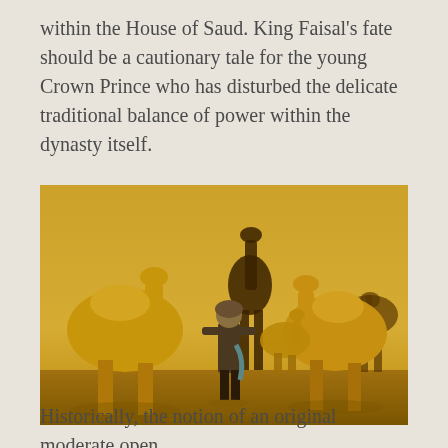within the House of Saud. King Faisal's fate should be a cautionary tale for the young Crown Prince who has disturbed the delicate traditional balance of power within the dynasty itself.
[Figure (photo): A sepia/golden-toned photograph of a person standing among a group of camels in a desert setting. The person is dressed in traditional Middle Eastern attire and is surrounded by several camels of varying sizes.]
Historically, the notion of an original moderate open